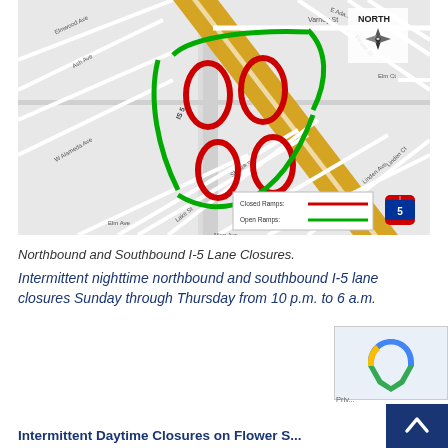[Figure (map): Street map showing I-5 interchange with closed ramps (red) and open ramps (green) highlighted. Map shows streets including Varney St, Flower St, Elm Ct, Linden Ave, Shasta St, Lake St, Ash Ave, Elmwood Ave. Legend shows Closed Ramps in red and Open Ramps in green. North arrow compass shown in upper right. I-5 freeway shield visible at bottom right.]
Northbound and Southbound I-5 Lane Closures.
Intermittent nighttime northbound and southbound I-5 lane closures Sunday through Thursday from 10 p.m. to 6 a.m.
Intermittent Daytime Closures on Flower S...